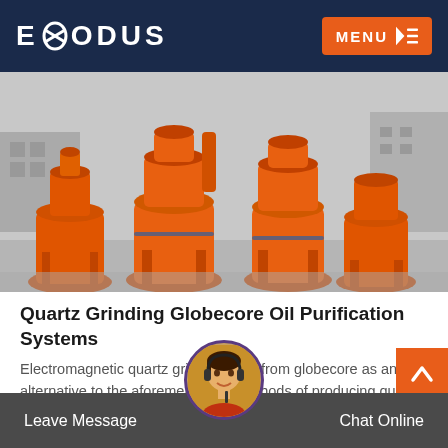EXODUS MENU
[Figure (photo): Row of orange industrial quartz grinding mill machines lined up in a factory yard, with grey background buildings]
Quartz Grinding Globecore Oil Purification Systems
Electromagnetic quartz grinding mills from globecore as an alternative to the aforementioned methods of producing qua…
READ MORE
Leave Message   Chat Online